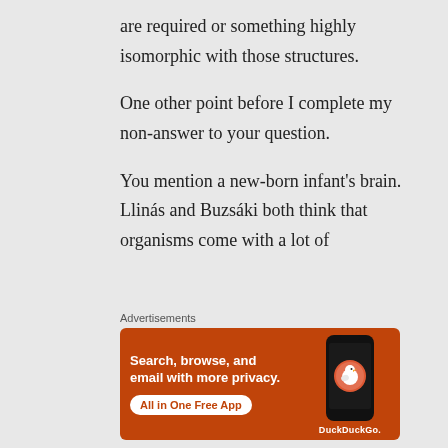are required or something highly isomorphic with those structures.
One other point before I complete my non-answer to your question.
You mention a new-born infant's brain. Llinás and Buzsáki both think that organisms come with a lot of
Advertisements
[Figure (infographic): DuckDuckGo advertisement banner with orange background. Text reads: 'Search, browse, and email with more privacy. All in One Free App'. Shows a smartphone with the DuckDuckGo logo and brand name.]